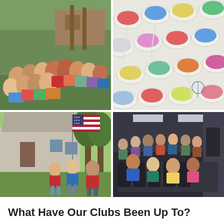[Figure (photo): Grid of four photos: top-left shows a group of young people posing outdoors near wooden structures; top-right shows colorful snow cones or shaved ice in white cups; bottom-left shows three people holding a large American flag outdoors on a lawn; bottom-right shows a large group of people gathered in an indoor room.]
What Have Our Clubs Been Up To?
by Amy Tedford | Sep 9, 2016 | Annoucements, Membership